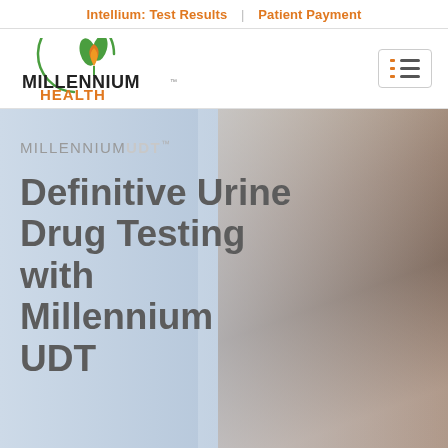Intellium: Test Results | Patient Payment
[Figure (logo): Millennium Health logo with green and orange leaf/flame icon and circular arc]
MILLENNIUMUDT™
Definitive Urine Drug Testing with Millennium UDT